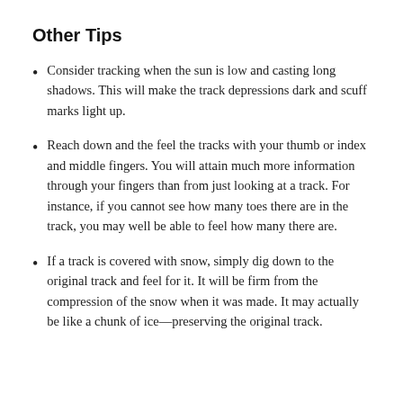Other Tips
Consider tracking when the sun is low and casting long shadows. This will make the track depressions dark and scuff marks light up.
Reach down and the feel the tracks with your thumb or index and middle fingers. You will attain much more information through your fingers than from just looking at a track. For instance, if you cannot see how many toes there are in the track, you may well be able to feel how many there are.
If a track is covered with snow, simply dig down to the original track and feel for it. It will be firm from the compression of the snow when it was made. It may actually be like a chunk of ice—preserving the original track.